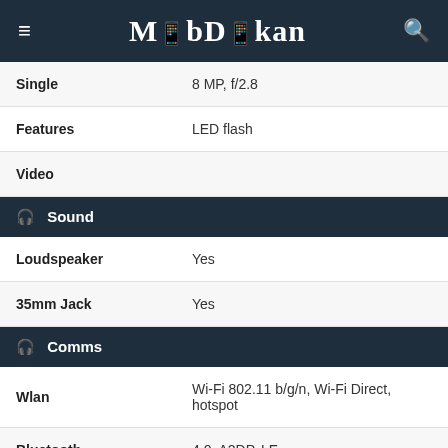MobDokan
| Feature | Value |
| --- | --- |
| Single | 8 MP, f/2.8 |
| Features | LED flash |
| Video |  |
| 🎧 Sound |  |
| Loudspeaker | Yes |
| 35mm Jack | Yes |
| 🎧 Comms |  |
| Wlan | Wi-Fi 802.11 b/g/n, Wi-Fi Direct, hotspot |
| Bluetooth | 4.0, A2DP, LE |
| Gps | Yes, with A-GPS |